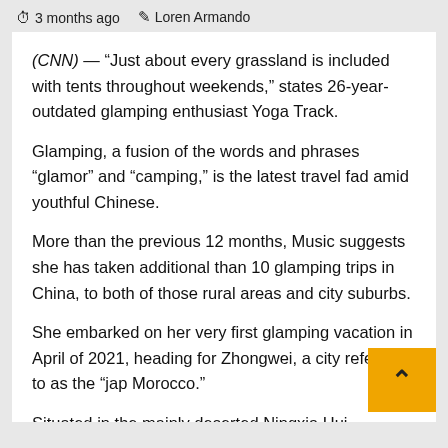3 months ago   Loren Armando
(CNN) — “Just about every grassland is included with tents throughout weekends,” states 26-year-outdated glamping enthusiast Yoga Track.
Glamping, a fusion of the words and phrases “glamor” and “camping,” is the latest travel fad amid youthful Chinese.
More than the previous 12 months, Music suggests she has taken additional than 10 glamping trips in China, to both of those rural areas and city suburbs.
She embarked on her very first glamping vacation in April of 2021, heading for Zhongwei, a city referred to as the “jap Morocco.”
Situated in the mainly deserted Ningxia Hui Autonomous Area of northern China, Zhongwei is home to the Yellow River, portions of the Excellent Wall, deserts, wetlands and ancient villages.